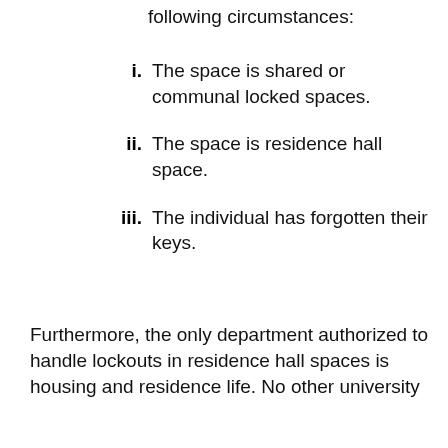following circumstances:
i.  The space is shared or communal locked spaces.
ii.  The space is residence hall space.
iii. The individual has forgotten their keys.
Furthermore, the only department authorized to handle lockouts in residence hall spaces is housing and residence life. No other university